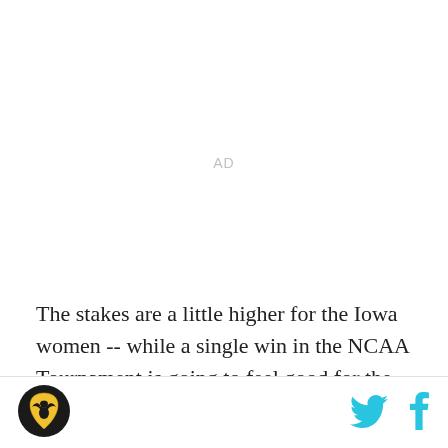AD
The stakes are a little higher for the Iowa women -- while a single win in the NCAA Tournament is going to feel good for the Iowa men, anything less than a spot in the Sweet 16 is going to be a letdown for the ladies. That's because this team is very, very good, as they've
[Figure (logo): Sports website logo - yellow/gold eagle emblem on dark circular background]
[Figure (logo): Twitter bird icon in cyan/blue]
[Figure (logo): Facebook 'f' icon in cyan/blue]